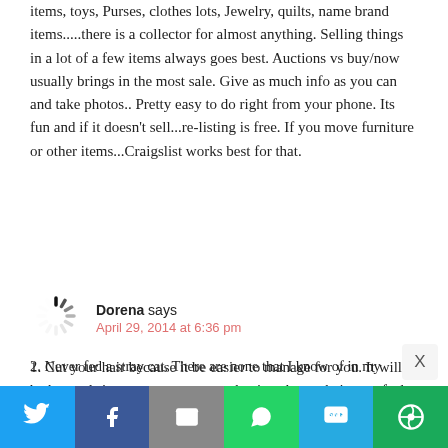items, toys, Purses, clothes lots, Jewelry, quilts, name brand items.....there is a collector for almost anything. Selling things in a lot of a few items always goes best. Auctions vs buy/now usually brings in the most sale. Give as much info as you can and take photos.. Pretty easy to do right from your phone. Its fun and if it doesn't sell...re-listing is free. If you move furniture or other items...Craigslist works best for that.
[Figure (other): Loading spinner avatar icon for comment by Dorena]
Dorena says
April 29, 2014 at 6:36 pm
1. Cut your hair because it be easier to manage for you. It will be hot and since you are pregnant having shorter hair may feel better and cooler.
2. Never fed a stray cat. There are none that I know of in my
[Figure (infographic): Social sharing bar with Twitter, Facebook, Email, WhatsApp, SMS, and More buttons]